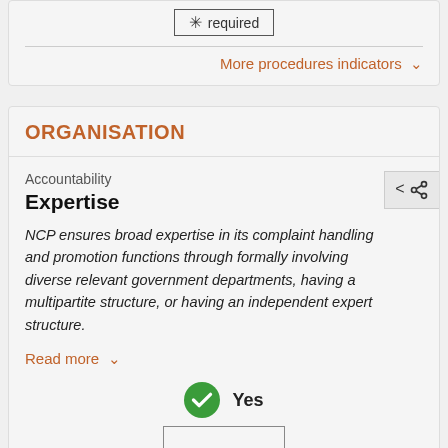[Figure (other): Required indicator box with asterisk icon and text 'required']
More procedures indicators ▾
ORGANISATION
Accountability
Expertise
NCP ensures broad expertise in its complaint handling and promotion functions through formally involving diverse relevant government departments, having a multipartite structure, or having an independent expert structure.
Read more ▾
Yes